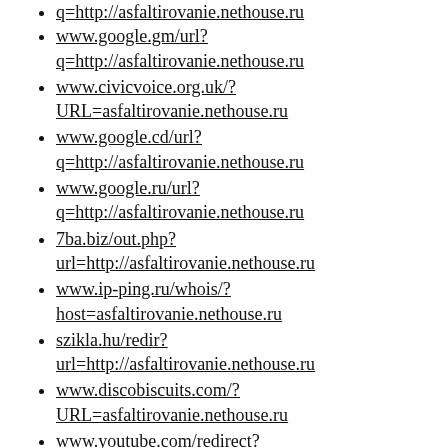q=http://asfaltirovanie.nethouse.ru
www.google.gm/url?q=http://asfaltirovanie.nethouse.ru
www.civicvoice.org.uk/?URL=asfaltirovanie.nethouse.ru
www.google.cd/url?q=http://asfaltirovanie.nethouse.ru
www.google.ru/url?q=http://asfaltirovanie.nethouse.ru
7ba.biz/out.php?url=http://asfaltirovanie.nethouse.ru
www.ip-ping.ru/whois/?host=asfaltirovanie.nethouse.ru
szikla.hu/redir?url=http://asfaltirovanie.nethouse.ru
www.discobiscuits.com/?URL=asfaltirovanie.nethouse.ru
www.youtube.com/redirect?q=asfaltirovanie.nethouse.ru